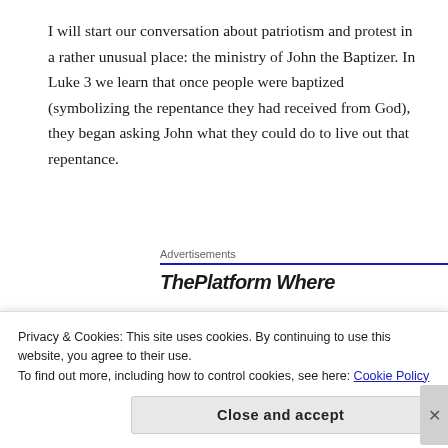I will start our conversation about patriotism and protest in a rather unusual place: the ministry of John the Baptizer. In Luke 3 we learn that once people were baptized (symbolizing the repentance they had received from God), they began asking John what they could do to live out that repentance.
Advertisements
[Figure (other): Advertisement block with label 'Advertisements', a blue horizontal rule, and partial ad title text 'ThePlatform Where' in bold italic]
I bring this up because of the sort of people that came to John with the question—namely, tax collectors and soldiers. I have always been surprised that John's radical message of repentance and the lifestyle of...
Privacy & Cookies: This site uses cookies. By continuing to use this website, you agree to their use.
To find out more, including how to control cookies, see here: Cookie Policy
Close and accept